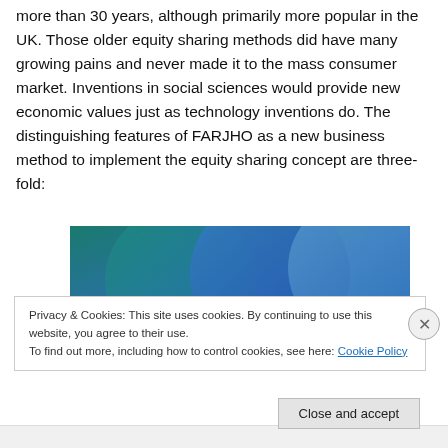more than 30 years, although primarily more popular in the UK. Those older equity sharing methods did have many growing pains and never made it to the mass consumer market. Inventions in social sciences would provide new economic values just as technology inventions do. The distinguishing features of FARJHO as a new business method to implement the equity sharing concept are three-fold:
[Figure (illustration): Blue and teal overlapping circles on a blue/teal gradient background, partially visible]
Privacy & Cookies: This site uses cookies. By continuing to use this website, you agree to their use.
To find out more, including how to control cookies, see here: Cookie Policy